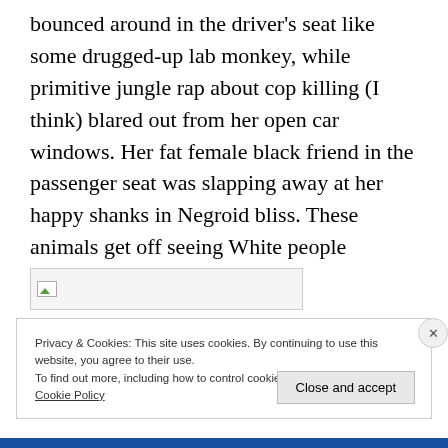bounced around in the driver's seat like some drugged-up lab monkey, while primitive jungle rap about cop killing (I think) blared out from her open car windows. Her fat female black friend in the passenger seat was slapping away at her happy shanks in Negroid bliss. These animals get off seeing White people noticing their idiot ape antics.
[Figure (other): Broken/placeholder image box with small landscape icon in top-left corner]
Privacy & Cookies: This site uses cookies. By continuing to use this website, you agree to their use.
To find out more, including how to control cookies, see here:
Cookie Policy
Close and accept